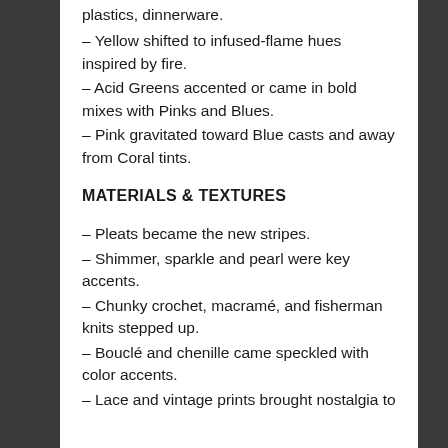plastics, dinnerware.
– Yellow shifted to infused-flame hues inspired by fire.
– Acid Greens accented or came in bold mixes with Pinks and Blues.
– Pink gravitated toward Blue casts and away from Coral tints.
MATERIALS & TEXTURES
– Pleats became the new stripes.
– Shimmer, sparkle and pearl were key accents.
– Chunky crochet, macramé, and fisherman knits stepped up.
– Bouclé and chenille came speckled with color accents.
– Lace and vintage prints brought nostalgia to